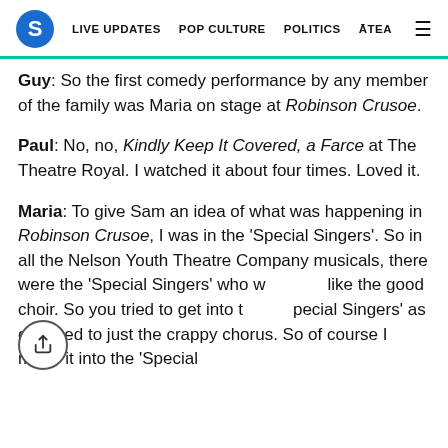S  LIVE UPDATES  POP CULTURE  POLITICS  ĀTEA  ≡
Guy: So the first comedy performance by any member of the family was Maria on stage at Robinson Crusoe.
Paul: No, no, Kindly Keep It Covered, a Farce at The Theatre Royal. I watched it about four times. Loved it.
Maria: To give Sam an idea of what was happening in Robinson Crusoe, I was in the 'Special Singers'. So in all the Nelson Youth Theatre Company musicals, there were the 'Special Singers' who were like the good choir. So you tried to get into the 'Special Singers' as opposed to just the crappy chorus. So of course I made it into the 'Special